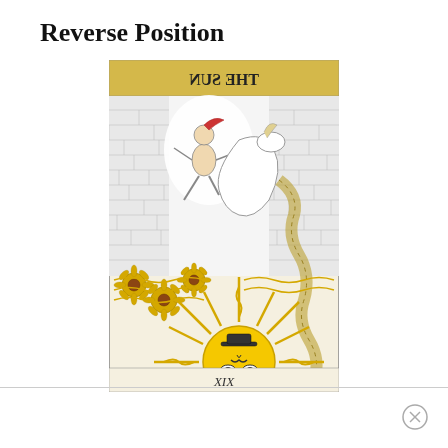Reverse Position
[Figure (illustration): The Sun tarot card (XIX) shown in reverse/upside-down position. The card features an inverted child figure falling from a white horse, large sunflowers along a wall, a radiant sun with a face at the bottom showing eyes and a smiling expression, straight and wavy golden rays emanating from the sun, and the text 'THE SUN' mirrored/reversed at the top of the card. Roman numeral XIX appears at the bottom.]